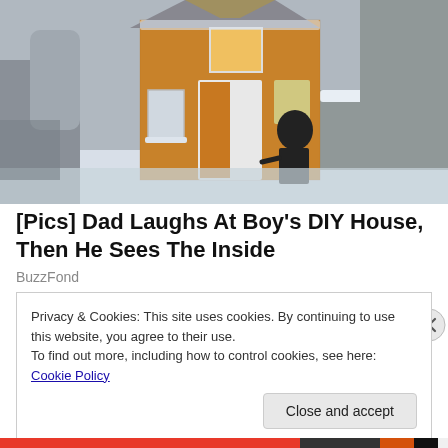[Figure (photo): A person in winter clothing stands at the open door of a small wooden DIY house covered in cedar shingles, surrounded by a snow-covered winter landscape with bare trees and a fence.]
[Pics] Dad Laughs At Boy's DIY House, Then He Sees The Inside
BuzzFond
Privacy & Cookies: This site uses cookies. By continuing to use this website, you agree to their use.
To find out more, including how to control cookies, see here: Cookie Policy
Close and accept